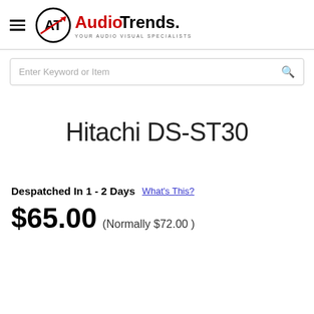AudioTrends. YOUR AUDIO VISUAL SPECIALISTS
Enter Keyword or Item
Hitachi DS-ST30
Despatched In 1 - 2 Days  What's This?
$65.00 (Normally $72.00 )